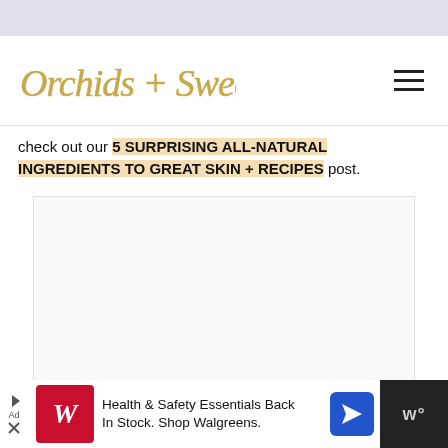[Figure (logo): Orchids + Sweet Tea cursive script logo in gold/amber color]
check out our 5 SURPRISING ALL-NATURAL INGREDIENTS TO GREAT SKIN + RECIPES post.
[Figure (other): Large white/light gray advertisement placeholder image block]
[Figure (other): Bottom advertisement bar: Walgreens ad — Health & Safety Essentials Back In Stock. Shop Walgreens.]